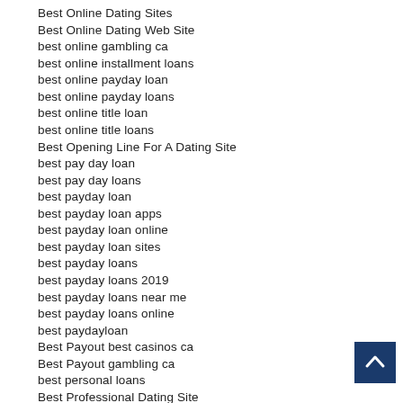Best Online Dating Sites
Best Online Dating Web Site
best online gambling ca
best online installment loans
best online payday loan
best online payday loans
best online title loan
best online title loans
Best Opening Line For A Dating Site
best pay day loan
best pay day loans
best payday loan
best payday loan apps
best payday loan online
best payday loan sites
best payday loans
best payday loans 2019
best payday loans near me
best payday loans online
best paydayloan
Best Payout best casinos ca
Best Payout gambling ca
best personal loans
Best Professional Dating Site
Best Rated Dating Sites